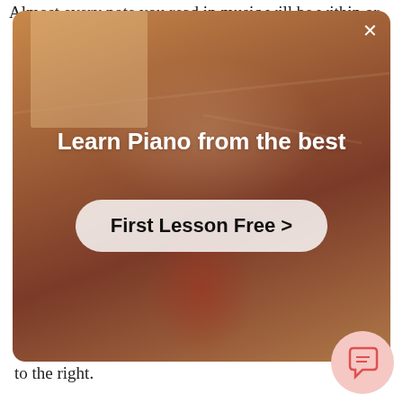Almost every note you read in music will be within or
[Figure (screenshot): Advertisement overlay for piano lessons showing a person playing piano in a warm-lit room, with bold white title text 'Learn Piano from the best' and a white rounded button 'First Lesson Free >' with a close X button in top right corner]
to the right.
Each note is indicated by a letter of the alphabet and played by either the left or right hand depending on whether it is in the bass clef or treble clef.
There are some exceptions to this rule, including notes which go outside of the staff, but we'll get to